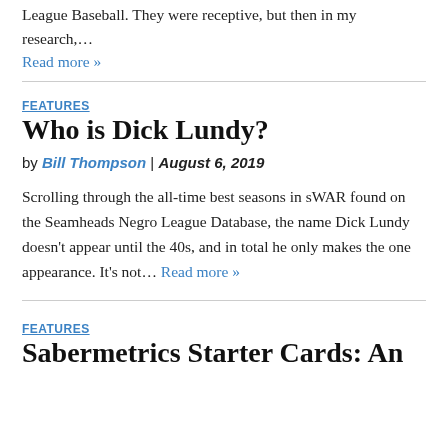League Baseball. They were receptive, but then in my research,…
Read more »
FEATURES
Who is Dick Lundy?
by Bill Thompson | August 6, 2019
Scrolling through the all-time best seasons in sWAR found on the Seamheads Negro League Database, the name Dick Lundy doesn't appear until the 40s, and in total he only makes the one appearance. It's not… Read more »
FEATURES
Sabermetrics Starter Cards: An